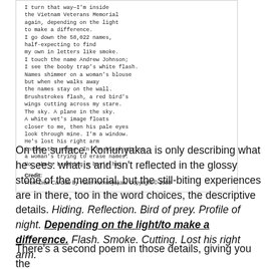[Figure (other): Poem excerpt in a bordered box with monospace text, credit label, and source attribution]
From Dien Cai Dau by Yusef Komunyakaa. Copyright © 1988
On the surface, Komunyakaa is only describing what he sees: what is and isn't reflected in the glossy stone of the memorial, but the still-biting experiences are in there, too in the word choices, the descriptive details. Hiding. Reflection. Bird of prey. Profile of night. Depending on the light/to make a difference. Flash. Smoke. Cutting. Lost his right arm.
There's a second poem in those details, giving you the